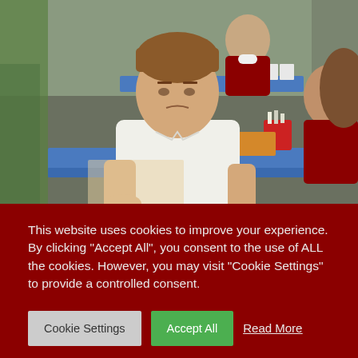[Figure (photo): Classroom photo showing a young boy in a white polo shirt sitting at a blue desk, with other students in dark red/maroon uniforms visible in the background. Red pencil holder on the desk.]
This website uses cookies to improve your experience. By clicking "Accept All", you consent to the use of ALL the cookies. However, you may visit "Cookie Settings" to provide a controlled consent.
Cookie Settings | Accept All | Read More